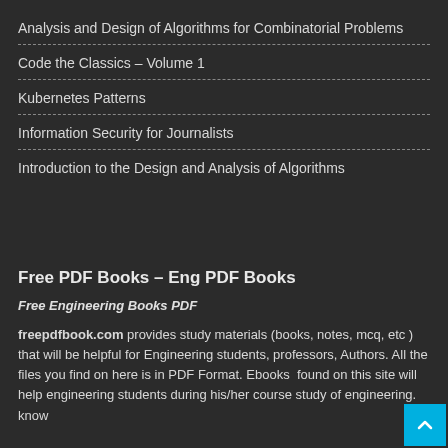Analysis and Design of Algorithms for Combinatorial Problems
Code the Classics – Volume 1
Kubernetes Patterns
Information Security for Journalists
Introduction to the Design and Analysis of Algorithms
Free PDF Books – Eng PDF Books
Free Engineering Books PDF
freepdfbook.com provides study materials (books, notes, mcq, etc ) that will be helpful for Engineering students, professors, Authors. All the files you find on here is in PDF Format. Ebooks  found on this site will help engineering students during his/her course study of engineering. know